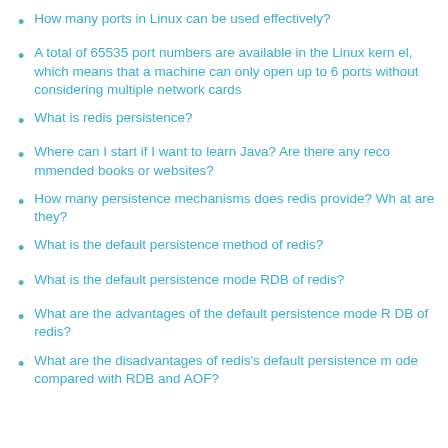How many ports in Linux can be used effectively?
A total of 65535 port numbers are available in the Linux kernel, which means that a machine can only open up to 6 ports without considering multiple network cards
What is redis persistence?
Where can I start if I want to learn Java? Are there any recommended books or websites?
How many persistence mechanisms does redis provide? What are they?
What is the default persistence method of redis?
What is the default persistence mode RDB of redis?
What are the advantages of the default persistence mode RDB of redis?
What are the disadvantages of redis's default persistence mode compared with RDB and AOF?